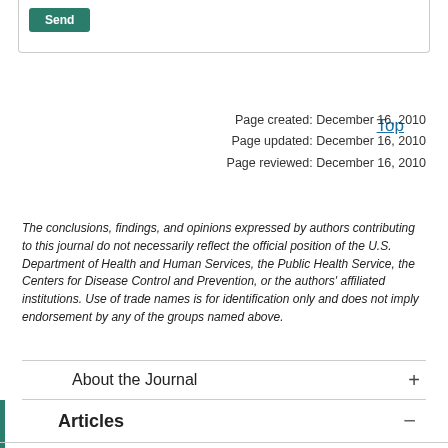Send
Top
Page created: December 16, 2010
Page updated: December 16, 2010
Page reviewed: December 16, 2010
The conclusions, findings, and opinions expressed by authors contributing to this journal do not necessarily reflect the official position of the U.S. Department of Health and Human Services, the Public Health Service, the Centers for Disease Control and Prevention, or the authors' affiliated institutions. Use of trade names is for identification only and does not imply endorsement by any of the groups named above.
About the Journal
Articles